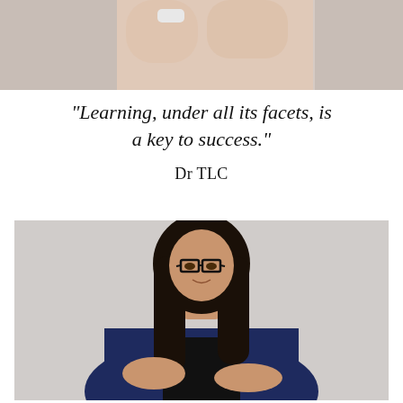[Figure (photo): Partial photo at top of page showing a person's arm/hand area, cropped]
"Learning, under all its facets, is a key to success."
Dr TLC
[Figure (photo): Professional photo of a young woman with dark hair and glasses, wearing a navy blazer over a black top, gesturing with her hands while presenting, on a light gray background]